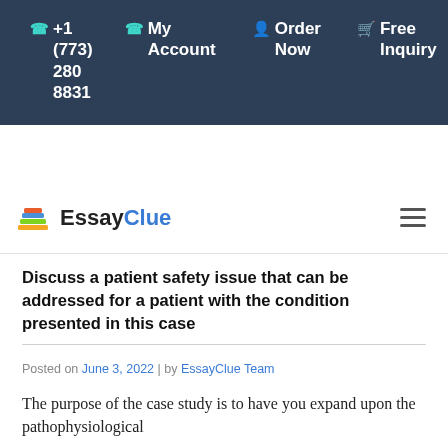+1 (773) 280 8831   My Account   Order Now   Free Inquiry
[Figure (logo): EssayClue logo with stacked books icon and hamburger menu icon]
Discuss a patient safety issue that can be addressed for a patient with the condition presented in this case
Posted on June 3, 2022 | by EssayClue Team
The purpose of the case study is to have you expand upon the pathophysiological